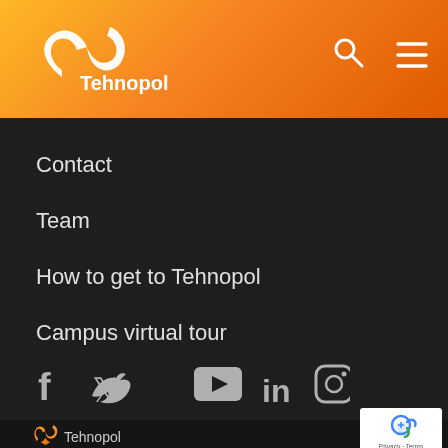Tehnopol
Contact
Team
How to get to Tehnopol
Campus virtual tour
[Figure (other): Social media icons: Facebook, Twitter, YouTube, LinkedIn, Instagram]
[Figure (logo): Tehnopol logo with orange boomerang/arrow icon and text 'Tehnopol']
[Figure (other): Google reCAPTCHA badge showing robot icon and 'Privacy - Terms' text]